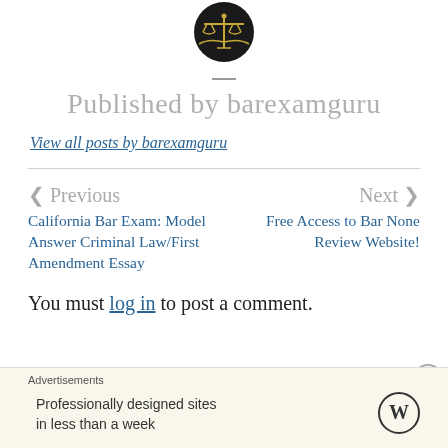[Figure (logo): Scales of justice logo in a dark circular badge with gold/olive branch decoration]
Published by barexamguru
View all posts by barexamguru
< Previous
Next >
California Bar Exam: Model Answer Criminal Law/First Amendment Essay
Free Access to Bar None Review Website!
You must log in to post a comment.
Advertisements
Professionally designed sites in less than a week